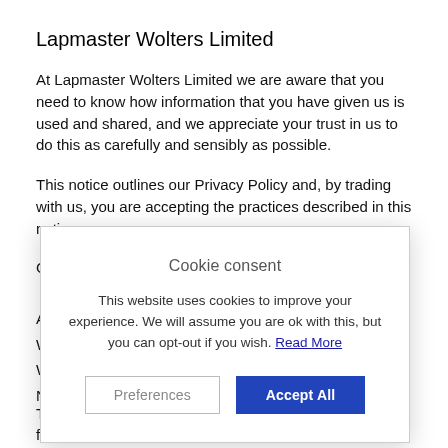Lapmaster Wolters Limited
At Lapmaster Wolters Limited we are aware that you need to know how information that you have given us is used and shared, and we appreciate your trust in us to do this as carefully and sensibly as possible.
This notice outlines our Privacy Policy and, by trading with us, you are accepting the practices described in this notice.
[Figure (screenshot): Cookie consent popup overlay with title 'Cookie consent', body text 'This website uses cookies to improve your experience. We will assume you are ok with this, but you can opt-out if you wish. Read More', and two buttons: 'Preferences' and 'Accept All']
The information gathered when setting up an account for your